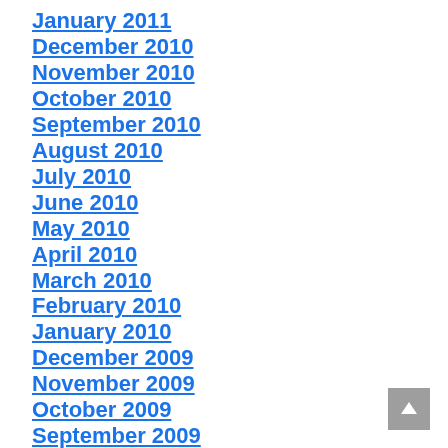January 2011
December 2010
November 2010
October 2010
September 2010
August 2010
July 2010
June 2010
May 2010
April 2010
March 2010
February 2010
January 2010
December 2009
November 2009
October 2009
September 2009
August 2009
July 2009